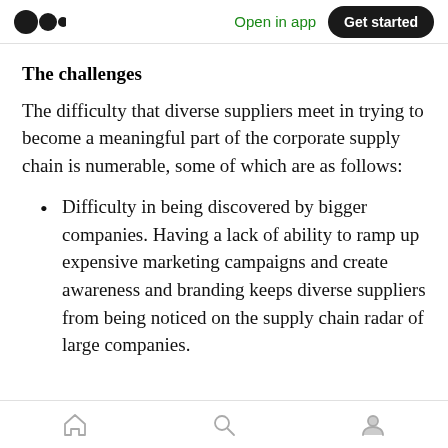Medium logo | Open in app | Get started
The challenges
The difficulty that diverse suppliers meet in trying to become a meaningful part of the corporate supply chain is numerable, some of which are as follows:
Difficulty in being discovered by bigger companies. Having a lack of ability to ramp up expensive marketing campaigns and create awareness and branding keeps diverse suppliers from being noticed on the supply chain radar of large companies.
Home | Search | Profile